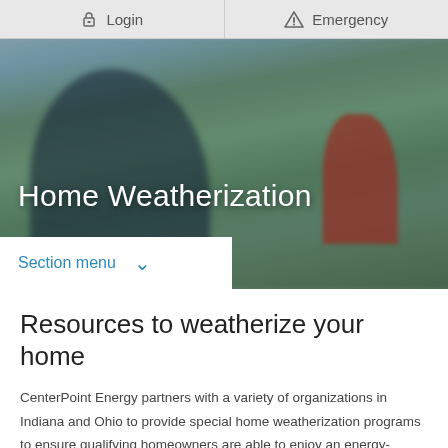Login  Emergency
[Figure (photo): Blurred outdoor background image showing a person bending over in a garden or yard, with a child in a red jacket visible on the right side. The hero banner image for the Home Weatherization page.]
Home Weatherization
Section menu
Resources to weatherize your home
CenterPoint Energy partners with a variety of organizations in Indiana and Ohio to provide special home weatherization programs to ensure qualifying homeowners are able to enjoy an energy-efficient and comfortable home year-round.